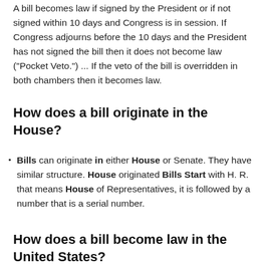A bill becomes law if signed by the President or if not signed within 10 days and Congress is in session. If Congress adjourns before the 10 days and the President has not signed the bill then it does not become law ("Pocket Veto.") ... If the veto of the bill is overridden in both chambers then it becomes law.
How does a bill originate in the House?
Bills can originate in either House or Senate. They have similar structure. House originated Bills Start with H. R. that means House of Representatives, it is followed by a number that is a serial number.
How does a bill become law in the United States?